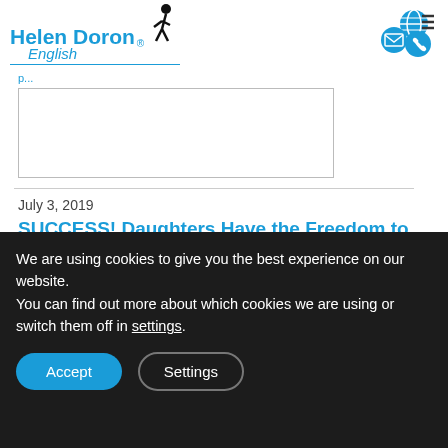Helen Doron English
[Figure (illustration): Empty image placeholder box at top of page]
July 3, 2019
SUCCESS! Daughters Have the Freedom to Communicate Anywhere
[Figure (illustration): Empty image placeholder box below article title]
We are using cookies to give you the best experience on our website.
You can find out more about which cookies we are using or switch them off in settings.